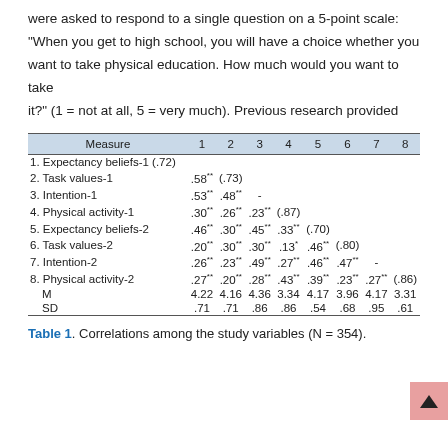were asked to respond to a single question on a 5-point scale: "When you get to high school, you will have a choice whether you want to take physical education. How much would you want to take it?" (1 = not at all, 5 = very much). Previous research provided
| Measure | 1 | 2 | 3 | 4 | 5 | 6 | 7 | 8 |
| --- | --- | --- | --- | --- | --- | --- | --- | --- |
| 1. Expectancy beliefs-1 | (.72) |  |  |  |  |  |  |  |
| 2. Task values-1 | .58** | (.73) |  |  |  |  |  |  |
| 3. Intention-1 | .53** | .48** | - |  |  |  |  |  |
| 4. Physical activity-1 | .30** | .26** | .23** | (.87) |  |  |  |  |
| 5. Expectancy beliefs-2 | .46** | .30** | .45** | .33** | (.70) |  |  |  |
| 6. Task values-2 | .20** | .30** | .30** | .13* | .46** | (.80) |  |  |
| 7. Intention-2 | .26** | .23** | .49** | .27** | .46** | .47** | - |  |
| 8. Physical activity-2 | .27** | .20** | .28** | .43** | .39** | .23** | .27** | (.86) |
| M | 4.22 | 4.16 | 4.36 | 3.34 | 4.17 | 3.96 | 4.17 | 3.31 |
| SD | .71 | .71 | .86 | .86 | .54 | .68 | .95 | .61 |
Table 1. Correlations among the study variables (N = 354).